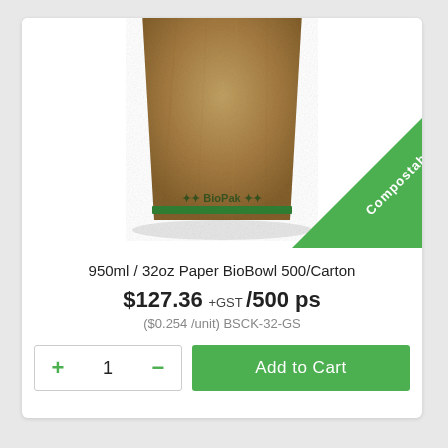[Figure (photo): Brown kraft paper BioBowl/cup from BioPak brand, with a green 'Compostable' diagonal badge in the bottom right corner. The cup has a green band at the bottom with the BioPak logo.]
950ml / 32oz Paper BioBowl 500/Carton
$127.36 +GST /500 ps
($0.254 /unit) BSCK-32-GS